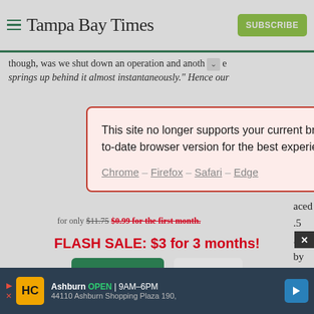Tampa Bay Times — SUBSCRIBE
though, was we shut down an operation and anoth [chevron] e springs up behind it almost instantaneously." Hence our
[Figure (screenshot): Browser compatibility warning modal dialog with red border on pink background. Text reads: 'This site no longer supports your current browser. Please use a modern and up-to-date browser version for the best experience.' Browser links: Chrome – Firefox – Safari – Edge. Red X close button top right.]
aced .5 . By by
for only $11.75 $0.99 for the first month.
FLASH SALE: $3 for 3 months!
Subscribe   Log In
Interested in print delivery? Subscribe here →
[Figure (screenshot): Advertisement bar at bottom: HC logo on yellow background, Ashburn OPEN 9AM-6PM, 44110 Ashburn Shopping Plaza 190, with blue navigation arrow icon on right.]